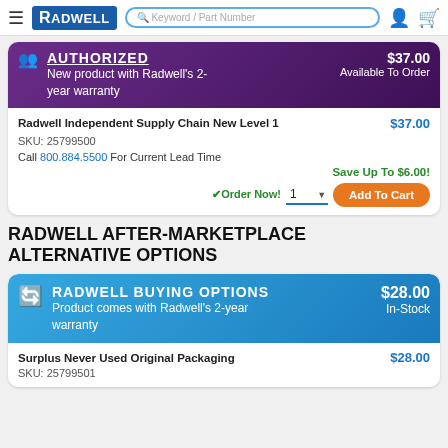Radwell — Keyword / Part Number search
AUTHORIZED
New product with Radwell's 2-year warranty
$37.00
Available To Order
Radwell Independent Supply Chain New Level 1 $37.00
SKU: 25799500
Call 800.884.5500 For Current Lead Time
Save Up To $6.00!
✓Order Now! 1 Add To Cart
RADWELL AFTER-MARKETPLACE ALTERNATIVE OPTIONS
RADWELL BUYING OPTIONS
Product comes with Radwell's 2-year warranty
$28.00
In-Stock
Surplus Never Used Original Packaging $28.00
SKU: 25799501